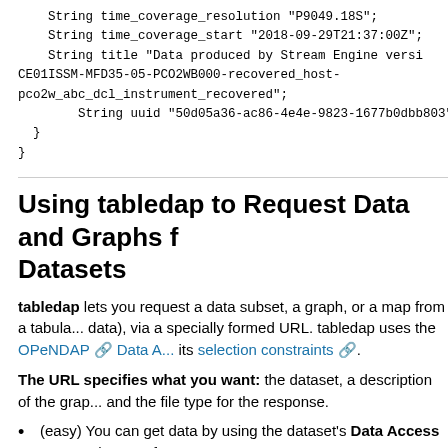String time_coverage_resolution "P9049.18S";
    String time_coverage_start "2018-09-29T21:37:00Z";
    String title "Data produced by Stream Engine versi
CE01ISSM-MFD35-05-PCO2WB000-recovered_host-
pco2w_abc_dcl_instrument_recovered";
        String uuid "50d05a36-ac86-4e4e-9823-1677b0dbb803"
  }
}
Using tabledap to Request Data and Graphs f... Datasets
tabledap lets you request a data subset, a graph, or a map from a tabula... data), via a specially formed URL. tabledap uses the OPeNDAP Data A... its selection constraints .
The URL specifies what you want: the dataset, a description of the grap... and the file type for the response.
(easy) You can get data by using the dataset's Data Access Form... the URL for you.
(easy) You can make a graph or map by using the dataset's Make...